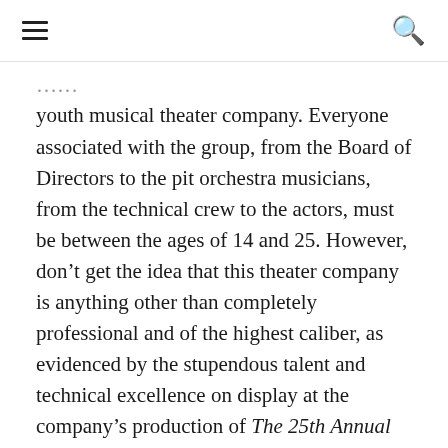≡  🔍
youth musical theater company. Everyone associated with the group, from the Board of Directors to the pit orchestra musicians, from the technical crew to the actors, must be between the ages of 14 and 25. However, don't get the idea that this theater company is anything other than completely professional and of the highest caliber, as evidenced by the stupendous talent and technical excellence on display at the company's production of The 25th Annual Putnam County Spelling Bee.
Director Abigail Olshin makes excellent use of an extremely able cast in this story of a middle school